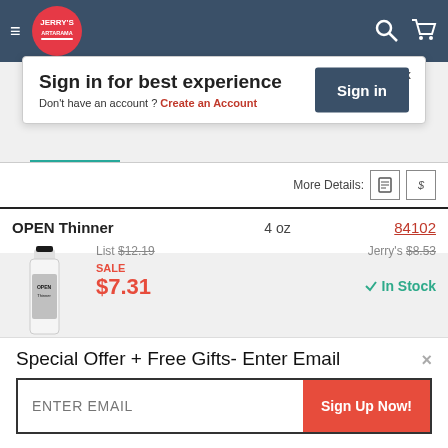[Figure (screenshot): Jerry's Artarama e-commerce website screenshot showing navigation bar with logo, sign-in modal, product listing for OPEN Thinner 4 oz (SKU 84102) with pricing, and email offer popup.]
Sign in for best experience
Don't have an account ? Create an Account
Sign in
More Details:
OPEN Thinner	4 oz	84102
List $12.19
Jerry's $8.53
SALE
$7.31
✓ In Stock
Special Offer + Free Gifts- Enter Email
ENTER EMAIL
Sign Up Now!